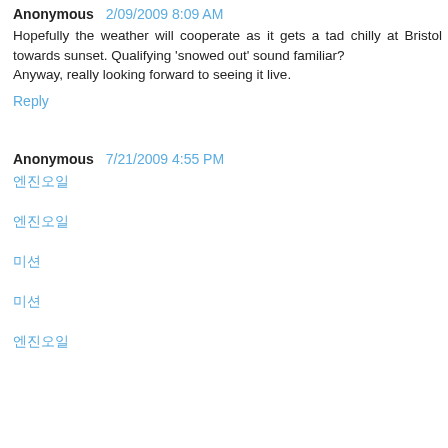Anonymous 2/09/2009 8:09 AM
Hopefully the weather will cooperate as it gets a tad chilly at Bristol towards sunset. Qualifying 'snowed out' sound familiar?
Anyway, really looking forward to seeing it live.
Reply
Anonymous 7/21/2009 4:55 PM
엔진오일
엔진오일
미션
미션
엔진오일